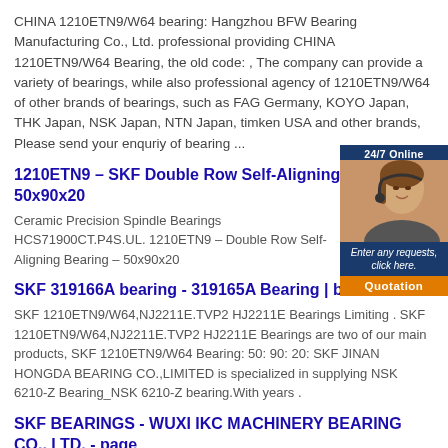CHINA 1210ETN9/W64 bearing: Hangzhou BFW Bearing Manufacturing Co., Ltd. professional providing CHINA 1210ETN9/W64 Bearing, the old code: , The company can provide a variety of bearings, while also professional agency of 1210ETN9/W64 of other brands of bearings, such as FAG Germany, KOYO Japan, THK Japan, NSK Japan, NTN Japan, timken USA and other brands, Please send your enquriy of bearing ...
1210ETN9 – SKF Double Row Self-Aligning Bearing – 50x90x20
Ceramic Precision Spindle Bearings HCS71900CT.P4S.UL. 1210ETN9 – Double Row Self-Aligning Bearing – 50x90x20
[Figure (photo): Advertisement banner with a woman customer service representative wearing a headset, dark blue background, text '24/7 Online', 'Enter any requests, click here.', and orange 'Quotation' button]
SKF 319166A bearing - 319165A Bearing | bearing 600x80...
SKF 1210ETN9/W64,NJ2211E.TVP2 HJ2211E Bearings Limiting . SKF 1210ETN9/W64,NJ2211E.TVP2 HJ2211E Bearings are two of our main products, SKF 1210ETN9/W64 Bearing: 50: 90: 20: SKF JINAN HONGDA BEARING CO.,LIMITED is specialized in supplying NSK 6210-Z Bearing_NSK 6210-Z bearing.With years .
SKF BEARINGS - WUXI IKC MACHINERY BEARING CO., LTD. - page
China SKF BEARINGS catalog of SKF 3214A Angular Contact Ball Bearings 3210 3215 3216, SKF 2311ent9 Aligning Ball Bearings 2311k 2312 2313 provided